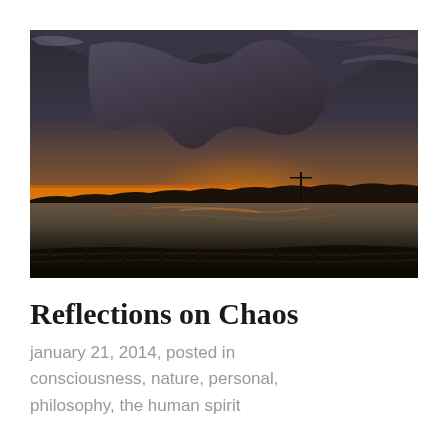[Figure (photo): A dramatic sunset photograph showing a wide body of water with a wooden fence/railing in the foreground. The sky is filled with dark storm clouds with an orange and golden glow on the horizon from the setting sun. A flat silhouetted treeline and utility poles are visible in the middle distance.]
Reflections on Chaos
january 21, 2014, posted in consciousness, nature, personal, philosophy, the human spirit